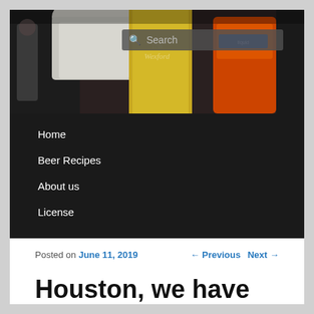[Figure (photo): Hero banner photo showing a golden beer glass with 'Wexford' etched on it, alongside orange brewing equipment in a dark/industrial setting.]
Home
Beer Recipes
About us
License
Posted on June 11, 2019   ← Previous   Next →
Houston, we have Haze